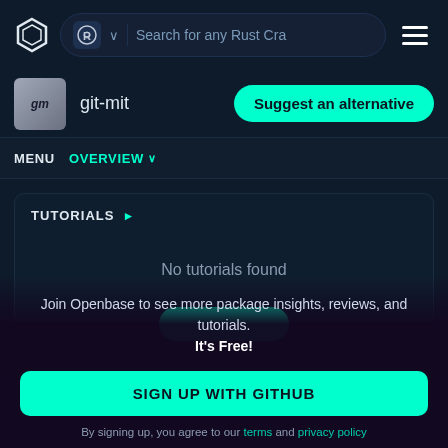Search for any Rust Cra
git-mit
Suggest an alternative
MENU  OVERVIEW
TUTORIALS
No tutorials found
Join Openbase to see more package insights, reviews, and tutorials. It's Free!
SIGN UP WITH GITHUB
By signing up, you agree to our terms and privacy policy